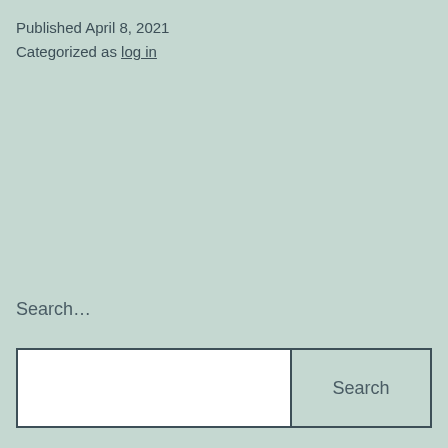Published April 8, 2021
Categorized as log in
Search…
Search